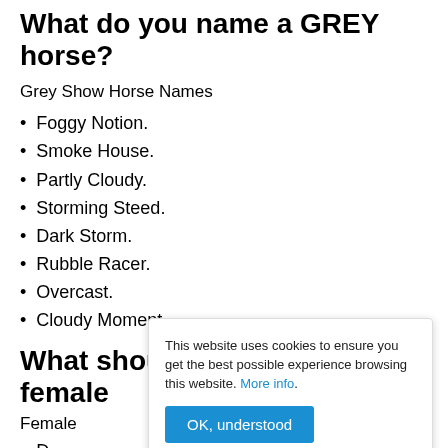What do you name a GREY horse?
Grey Show Horse Names
Foggy Notion.
Smoke House.
Partly Cloudy.
Storming Steed.
Dark Storm.
Rubble Racer.
Overcast.
Cloudy Moment.
What should I name my black female horse?
Female horse names...
D...
Raven.
[Figure (screenshot): Cookie consent overlay banner with text: 'This website uses cookies to ensure you get the best possible experience browsing this website. More info.' and a blue 'OK, understood' button.]